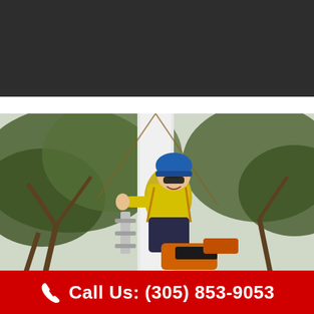[Figure (photo): Dark/black top banner area]
[Figure (photo): Tree service worker in yellow high-visibility shirt and blue hard hat, wearing safety harness, holding a chainsaw, positioned high up near a white pole surrounded by large trees]
Call Us: (305) 853-9053